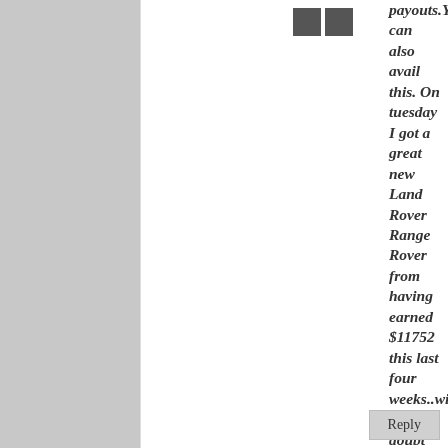[Figure (other): Two small dark grey avatar/icon squares side by side at the top of the comment area]
payouts.You can also avail this. On tuesday I got a great new Land Rover Range Rover from having earned $11752 this last four weeks..with-out any doubt it's the most-comfortable job I have ever done .. It sounds unbelievable but you wont forgive yourself if you don't check it !da168:
►► ►►
►► ►►, ►► ►►
http://GoogleIntern
★☆★★☆★★☆★★☆